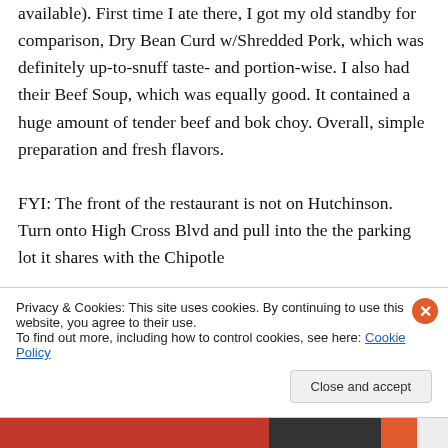available). First time I ate there, I got my old standby for comparison, Dry Bean Curd w/Shredded Pork, which was definitely up-to-snuff taste- and portion-wise. I also had their Beef Soup, which was equally good. It contained a huge amount of tender beef and bok choy. Overall, simple preparation and fresh flavors.

FYI: The front of the restaurant is not on Hutchinson. Turn onto High Cross Blvd and pull into the the parking lot it shares with the Chipotle
Privacy & Cookies: This site uses cookies. By continuing to use this website, you agree to their use.
To find out more, including how to control cookies, see here: Cookie Policy
Close and accept